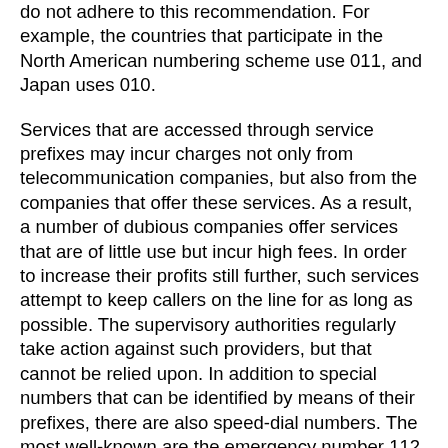do not adhere to this recommendation. For example, the countries that participate in the North American numbering scheme use 011, and Japan uses 010.
Services that are accessed through service prefixes may incur charges not only from telecommunication companies, but also from the companies that offer these services. As a result, a number of dubious companies offer services that are of little use but incur high fees. In order to increase their profits still further, such services attempt to keep callers on the line for as long as possible. The supervisory authorities regularly take action against such providers, but that cannot be relied upon. In addition to special numbers that can be identified by means of their prefixes, there are also speed-dial numbers. The most well-known are the emergency number 112 in Europe and 911 in North America. These numbers can be used nationwide and need no prefixes, i.e. no Country code +233 (011233) or area code 03125 (Samreboi).
As a general rule, the caller's telephone number is transmitted to the recipient of